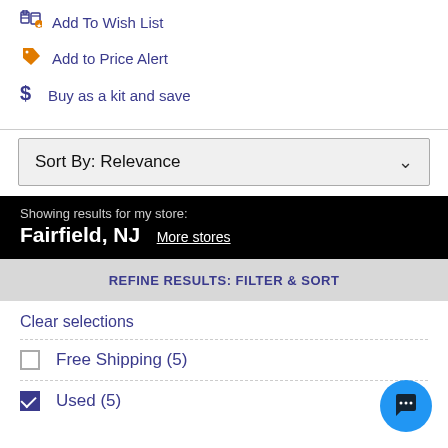Add To Wish List
Add to Price Alert
Buy as a kit and save
Sort By: Relevance
Showing results for my store: Fairfield, NJ  More stores
REFINE RESULTS: FILTER & SORT
Clear selections
Free Shipping (5)
Used (5)